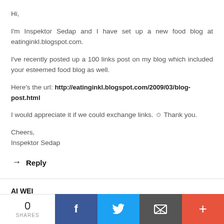Hi,
I'm Inspektor Sedap and I have set up a new food blog at eatinginkl.blogspot.com.
I've recently posted up a 100 links post on my blog which included your esteemed food blog as well.
Here's the url: http://eatinginkl.blogspot.com/2009/03/blog-post.html
I would appreciate it if we could exchange links. 🙂 Thank you.
Cheers,
Inspektor Sedap
→ Reply
AI WEI
April 12, 2009 at 4:10 PM
0 SHARES